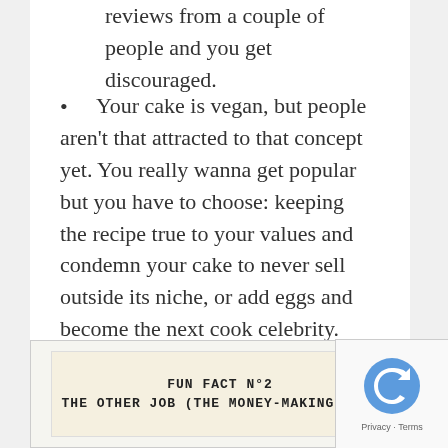reviews from a couple of people and you get discouraged.
Your cake is vegan, but people aren't that attracted to that concept yet. You really wanna get popular but you have to choose: keeping the recipe true to your values and condemn your cake to never sell outside its niche, or add eggs and become the next cook celebrity.
FUN FACT N°2
THE OTHER JOB (THE MONEY-MAKING ONE)